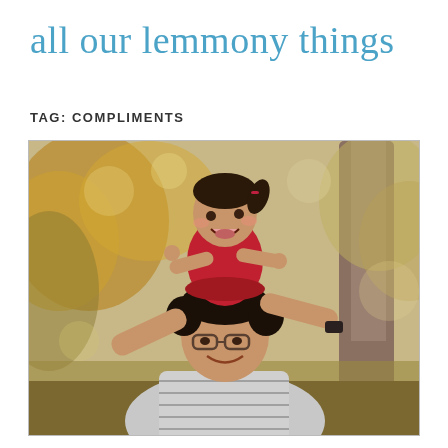all our lemmony things
TAG: COMPLIMENTS
[Figure (photo): A man with glasses and a striped shirt looks up smiling at a toddler girl in a red dress with pigtails, sitting on his shoulders. Autumn outdoor background with blurred trees and orange/yellow leaves.]